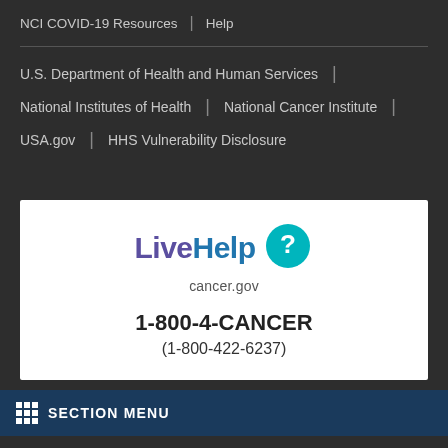NCI COVID-19 Resources | Help
U.S. Department of Health and Human Services
National Institutes of Health | National Cancer Institute
USA.gov | HHS Vulnerability Disclosure
[Figure (logo): LiveHelp cancer.gov logo with teal speech bubble containing a white question mark]
1-800-4-CANCER
(1-800-422-6237)
SECTION MENU